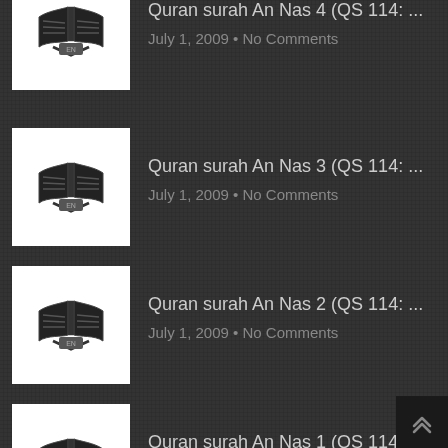Quran surah An Nas 4 (QS 114: ...
July 1, 2009 • No Comments
Quran surah An Nas 3 (QS 114: ...
July 1, 2009 • No Comments
Quran surah An Nas 2 (QS 114: ...
July 1, 2009 • No Comments
Quran surah An Nas 1 (QS 114: ...
July 1, 2009 • No Comments
Quran surah Al Falaq 5 (QS 113: ...
July 1, 2009 • 1 Comment